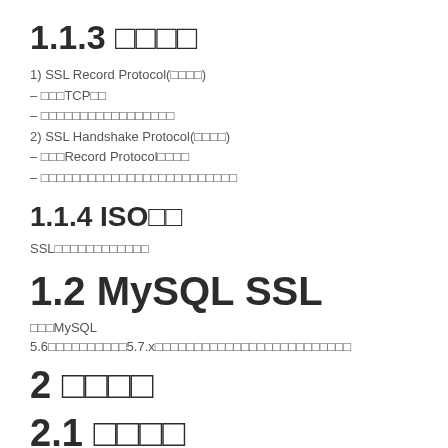1.1.3 □□□□
1) SSL Record Protocol(□□□□)
– □□□TCP□□
– □□□□□□□□□□□□□□□□□
2) SSL Handshake Protocol(□□□□)
– □□□Record Protocol□□□□
– □□□□□□□□□□□□□□□□□□□□□□□□□
1.1.4 ISO□□
SSL□□□□□□□□□□□□
1.2 MySQL SSL
□□□MySQL 5.6□□□□□□□□□□5.7.x□□□□□□□□□□□□□□□□□□□□□□□□□
2 □□□□
2.1 □□□□